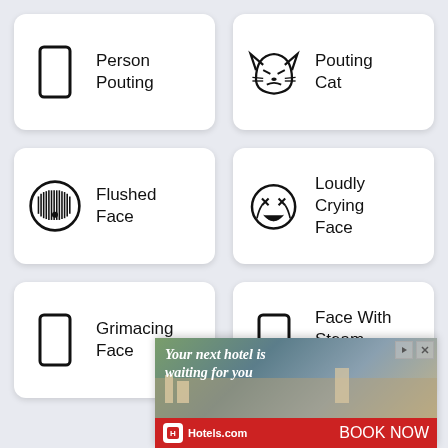[Figure (illustration): Card with rectangle placeholder icon and text 'Person Pouting']
[Figure (illustration): Card with pouting cat emoji icon and text 'Pouting Cat']
[Figure (illustration): Card with flushed face emoji icon and text 'Flushed Face']
[Figure (illustration): Card with loudly crying face emoji icon and text 'Loudly Crying Face']
[Figure (illustration): Card with rectangle placeholder icon and text 'Grimacing Face']
[Figure (illustration): Card with rectangle placeholder icon and text 'Face With Steam From Nose']
[Figure (illustration): Advertisement banner for Hotels.com with text 'Your next hotel is waiting for you' and 'BOOK NOW']